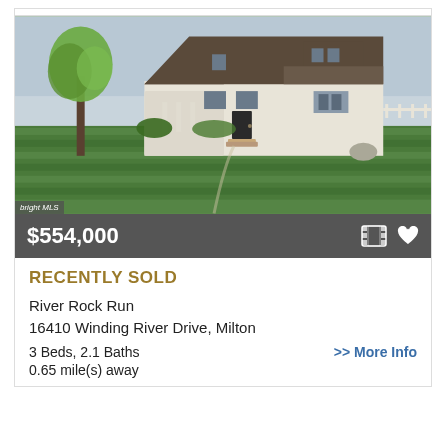[Figure (photo): Exterior photo of a two-story white/cream colonial-style house with brown roof, front porch, tall tree on left, striped green lawn in foreground, overcast sky. Bright MLS watermark bottom left.]
$554,000
RECENTLY SOLD
River Rock Run
16410 Winding River Drive, Milton
3 Beds, 2.1 Baths
>> More Info
0.65 mile(s) away